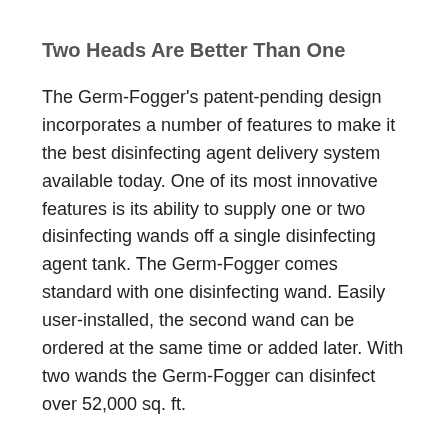Two Heads Are Better Than One
The Germ-Fogger's patent-pending design incorporates a number of features to make it the best disinfecting agent delivery system available today. One of its most innovative features is its ability to supply one or two disinfecting wands off a single disinfecting agent tank. The Germ-Fogger comes standard with one disinfecting wand. Easily user-installed, the second wand can be ordered at the same time or added later. With two wands the Germ-Fogger can disinfect over 52,000 sq. ft.